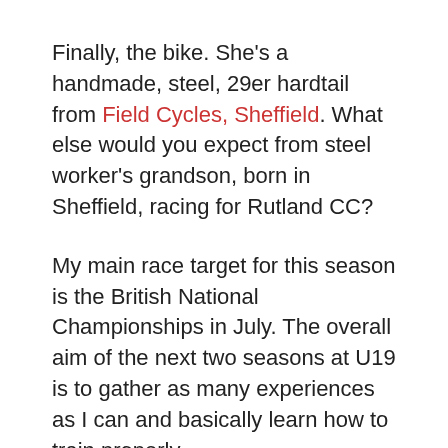Finally, the bike. She's a handmade, steel, 29er hardtail from Field Cycles, Sheffield. What else would you expect from steel worker's grandson, born in Sheffield, racing for Rutland CC?
My main race target for this season is the British National Championships in July. The overall aim of the next two seasons at U19 is to gather as many experiences as I can and basically learn how to train properly.
Our approach is 'Progress not Perfection' and underpins how we go about all our training and racing.
Over the coming weeks and months I'm going to be writing about the ups and downs of my racing and training. I'm also going to be keeping my eyes and ears open for news from the Elite scene plus